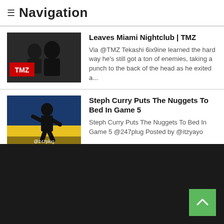≡ Navigation
Leaves Miami Nightclub | TMZ
Via @TMZ Tekashi 6ix9ine learned the hard way he's still got a ton of enemies, taking a punch to the back of the head as he exited a...
Steph Curry Puts The Nuggets To Bed In Game 5
Steph Curry Puts The Nuggets To Bed In Game 5 @247plug Posted by @itzyayo